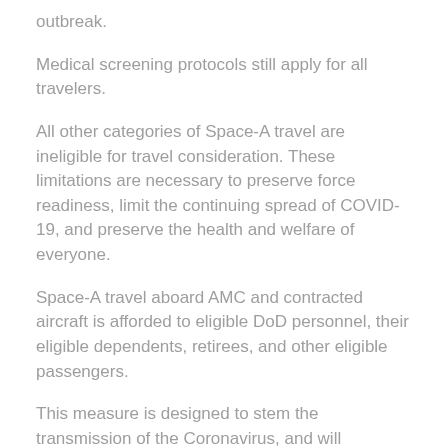outbreak.
Medical screening protocols still apply for all travelers.
All other categories of Space-A travel are ineligible for travel consideration. These limitations are necessary to preserve force readiness, limit the continuing spread of COVID-19, and preserve the health and welfare of everyone.
Space-A travel aboard AMC and contracted aircraft is afforded to eligible DoD personnel, their eligible dependents, retirees, and other eligible passengers.
This measure is designed to stem the transmission of the Coronavirus, and will significantly reduce threats to mission and force, by reducing the possibility that aircrew or screeners at passenger terminals may come into contact with those who may have contracted the virus.
“Our focus remains on force health protection, and this